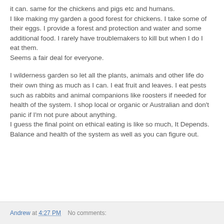it can. same for the chickens and pigs etc and humans. I like making my garden a good forest for chickens. I take some of their eggs. I provide a forest and protection and water and some additional food. I rarely have troublemakers to kill but when I do I eat them. Seems a fair deal for everyone.
I wilderness garden so let all the plants, animals and other life do their own thing as much as I can. I eat fruit and leaves. I eat pests such as rabbits and animal companions like roosters if needed for health of the system. I shop local or organic or Australian and don't panic if I'm not pure about anything. I guess the final point on ethical eating is like so much, It Depends. Balance and health of the system as well as you can figure out.
Andrew at 4:27 PM    No comments: